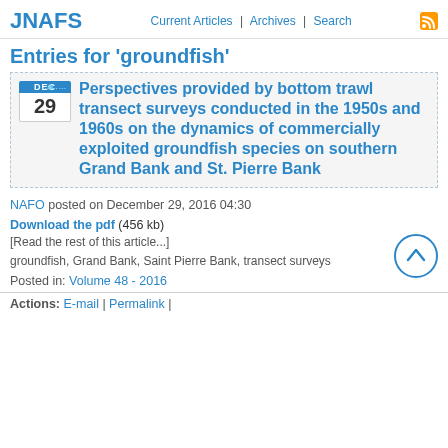JNAFS
Current Articles | Archives | Search
Entries for 'groundfish'
Perspectives provided by bottom trawl transect surveys conducted in the 1950s and 1960s on the dynamics of commercially exploited groundfish species on southern Grand Bank and St. Pierre Bank
NAFO posted on December 29, 2016 04:30
Download the pdf (456 kb)
[Read the rest of this article...]
groundfish, Grand Bank, Saint Pierre Bank, transect surveys
Posted in: Volume 48 - 2016
Actions: E-mail | Permalink |